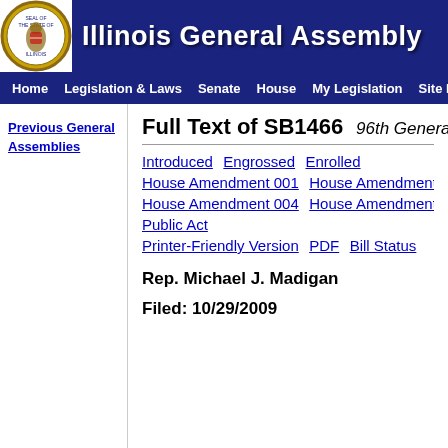Illinois General Assembly
Home | Legislation & Laws | Senate | House | My Legislation | Site Map
Previous General Assemblies
Full Text of SB1466  96th General Assembly
Introduced  Engrossed  Enrolled  House Amendment 001  House Amendment 002  House Amendment 004  House Amendment 005  Public Act  Printer-Friendly Version  PDF  Bill Status
Rep. Michael J. Madigan
Filed: 10/29/2009